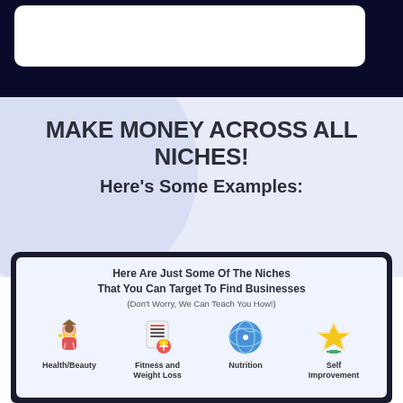[Figure (screenshot): Top dark navy bar with white rounded rectangle box inside]
MAKE MONEY ACROSS ALL NICHES!
Here's Some Examples:
[Figure (screenshot): Monitor/screen showing niches content with icons for Health/Beauty, Fitness and Weight Loss, Nutrition, Self Improvement]
Here Are Just Some Of The Niches That You Can Target To Find Businesses
(Don't Worry, We Can Teach You How!)
Health/Beauty
Fitness and Weight Loss
Nutrition
Self Improvement